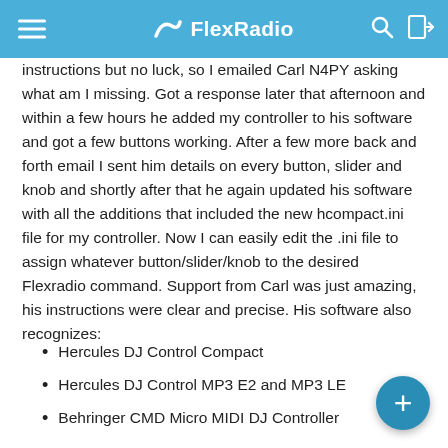FlexRadio
instructions but no luck, so I emailed Carl N4PY asking what am I missing. Got a response later that afternoon and within a few hours he added my controller to his software and got a few buttons working. After a few more back and forth email I sent him details on every button, slider and knob and shortly after that he again updated his software with all the additions that included the new hcompact.ini file for my controller. Now I can easily edit the .ini file to assign whatever button/slider/knob to the desired Flexradio command. Support from Carl was just amazing, his instructions were clear and precise. His software also recognizes:
Hercules DJ Control Compact
Hercules DJ Control MP3 E2 and MP3 LE
Behringer CMD Micro MIDI DJ Controller